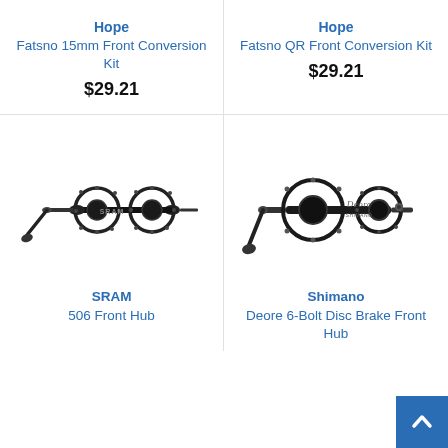Hope Fatsno 15mm Front Conversion Kit
$29.21
Hope Fatsno QR Front Conversion Kit
$29.21
[Figure (photo): SRAM 506 Front Hub - black bicycle hub component on white background]
SRAM 506 Front Hub
[Figure (photo): Shimano Deore 6-Bolt Disc Brake Front Hub - black bicycle hub with quick release lever on white background]
Shimano Deore 6-Bolt Disc Brake Front Hub